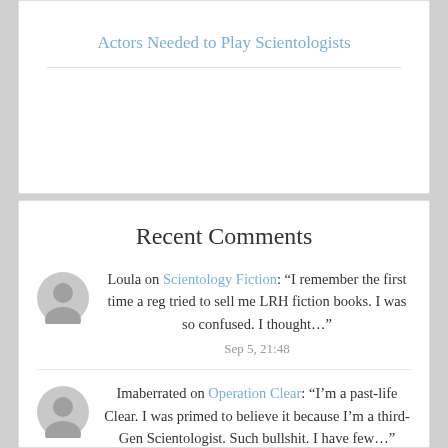Actors Needed to Play Scientologists
Recent Comments
Loula on Scientology Fiction: “I remember the first time a reg tried to sell me LRH fiction books. I was so confused. I thought…”
Sep 5, 21:48
Imaberrated on Operation Clear: “I’m a past-life Clear. I was primed to believe it because I’m a third-Gen Scientologist. Such bullshit. I have few…”